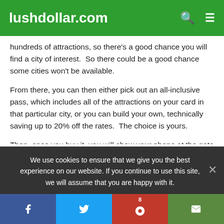lushdollar.com
hundreds of attractions, so there's a good chance you will find a city of interest.  So there could be a good chance some cities won't be available.
From there, you can then either pick out an all-inclusive pass, which includes all of the attractions on your card in that particular city, or you can build your own, technically saving up to 20% off the rates.  The choice is yours.
Then, once you buy it, you will show your phone at the gate as this will act as your entry ticket.  And as mentioned, your card timer will start to roll the minute you attend your
We use cookies to ensure that we give you the best experience on our website. If you continue to use this site, we will assume that you are happy with it.